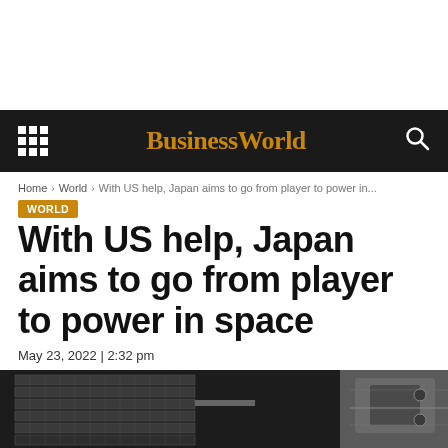BusinessWorld
Home › World › With US help, Japan aims to go from player to power in...
WORLD
With US help, Japan aims to go from player to power in space
May 23, 2022 | 2:32 pm
[Figure (photo): Aerial/orbital photograph of space station solar panels and spacecraft components against dark space background]